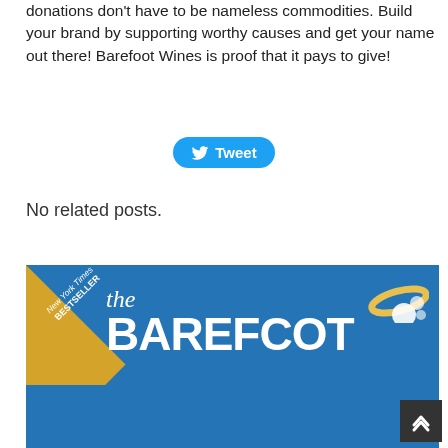donations don't have to be nameless commodities. Build your brand by supporting worthy causes and get your name out there! Barefoot Wines is proof that it pays to give!
[Figure (other): Twitter Tweet button — blue rounded pill-shaped button with Twitter bird icon and 'Tweet' label]
No related posts.
[Figure (illustration): Book cover for 'The Barefoot Spirit' on blue background with a New York Times Bestseller diagonal gold banner in top-left corner, white serif text 'the BAREFOOT' with a golden halo and foot illustration on the right side.]